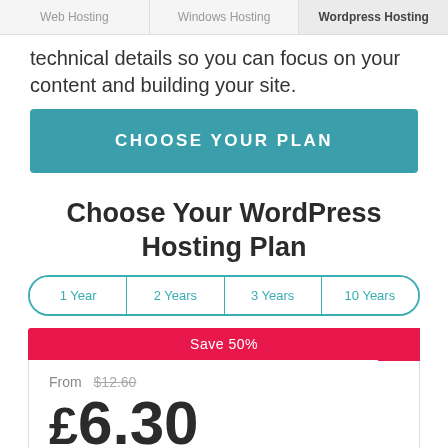Web Hosting | Windows Hosting | Wordpress Hosting
technical details so you can focus on your content and building your site.
CHOOSE YOUR PLAN
Choose Your WordPress Hosting Plan
1 Year
2 Years
3 Years
10 Years
Save 50%
From  $12.60
£6.30